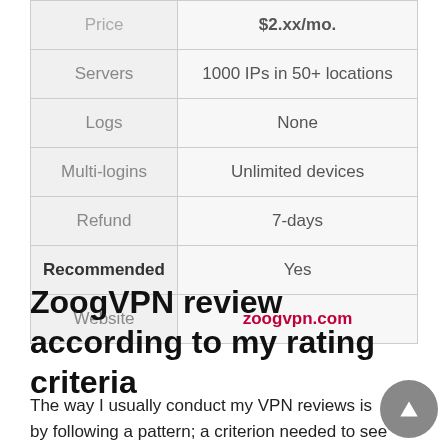|  |  |
| --- | --- |
| Price | $2.xx/mo. |
| Servers | 1000 IPs in 50+ locations |
| Logs | None |
| Multi-logins | Unlimited devices |
| Refund | 7-days |
| Recommended | Yes |
| Website | zoogvpn.com |
ZoogVPN review according to my rating criteria
The way I usually conduct my VPN reviews is by following a pattern; a criterion needed to see how